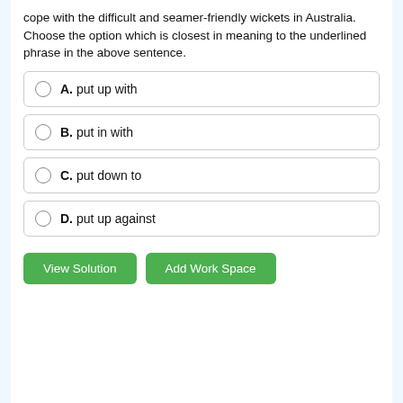cope with the difficult and seamer-friendly wickets in Australia. Choose the option which is closest in meaning to the underlined phrase in the above sentence.
A. put up with
B. put in with
C. put down to
D. put up against
View Solution | Add Work Space